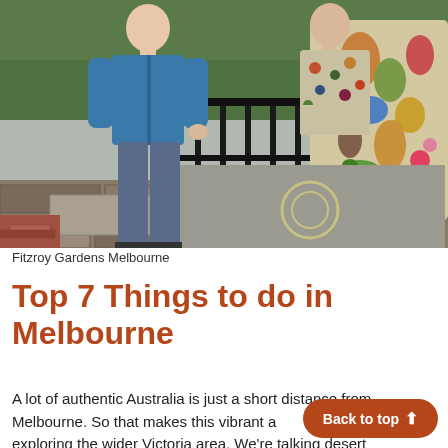[Figure (photo): Two people standing in front of a decorative mosaic or ceramic artwork featuring Australian wildlife (kangaroos, birds, etc.) surrounded by iron railings, at Fitzroy Gardens Melbourne. One person wears a blue jacket and jeans.]
Fitzroy Gardens Melbourne
Top 7 Things to do in Melbourne
A lot of authentic Australia is just a short distance from Melbourne. So that makes this vibrant a exploring the wider Victoria area. We're talking desert